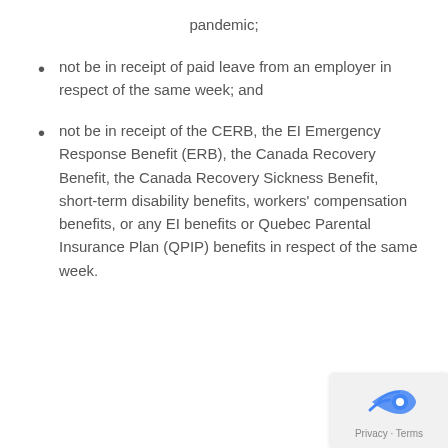pandemic;
not be in receipt of paid leave from an employer in respect of the same week; and
not be in receipt of the CERB, the EI Emergency Response Benefit (ERB), the Canada Recovery Benefit, the Canada Recovery Sickness Benefit, short-term disability benefits, workers’ compensation benefits, or any EI benefits or Quebec Parental Insurance Plan (QPIP) benefits in respect of the same week.